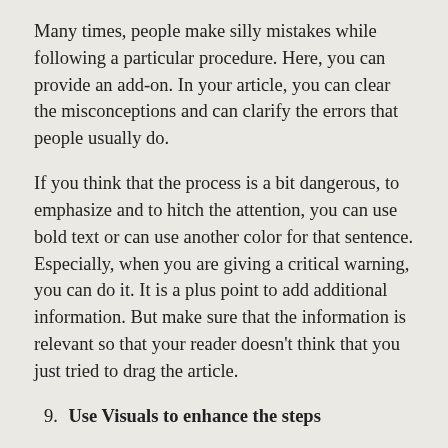Many times, people make silly mistakes while following a particular procedure. Here, you can provide an add-on. In your article, you can clear the misconceptions and can clarify the errors that people usually do.
If you think that the process is a bit dangerous, to emphasize and to hitch the attention, you can use bold text or can use another color for that sentence. Especially, when you are giving a critical warning, you can do it. It is a plus point to add additional information. But make sure that the information is relevant so that your reader doesn't think that you just tried to drag the article.
9. Use Visuals to enhance the steps
It is not necessary to include the pictures in your